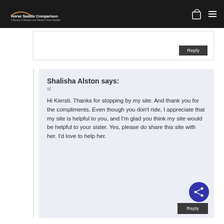Horse Saddle Comparison — A Review of Western and Western Horse Saddles
Reply
Shalisha Alston says:
at
Hi Kiersti. Thanks for stopping by my site. And thank you for the compliments. Even though you don't ride, I appreciate that my site is helpful to you, and I'm glad you think my site would be helpful to your sister. Yes, please do share this site with her. I'd love to help her.
Reply